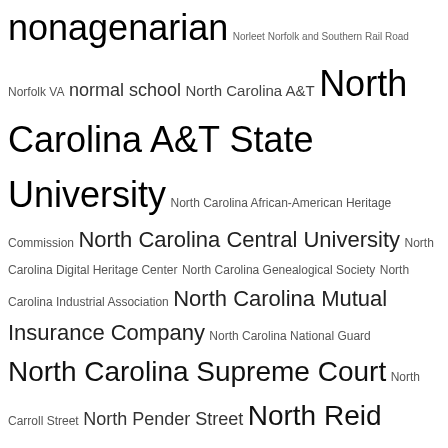nonagenarian Norleet Norfolk and Southern Rail Road Norfolk VA normal school North Carolina A&T North Carolina A&T State University North Carolina African-American Heritage Commission North Carolina Central University North Carolina Digital Heritage Center North Carolina Genealogical Society North Carolina Industrial Association North Carolina Mutual Insurance Company North Carolina National Guard North Carolina Supreme Court North Carroll Street North Pender Street North Reid Street North Vick Street Norwood notice of sale numbers nun Nunn nurse nursery school nursing home nutrition O'Daniel O'Neil Oakdale cemetery Oaklawn cemetery Oates Oats obelisk Obery Obey obituary Oblate Sisters of Providence occupation occupied Japan octogenarian Odd Fellows Odd Fellows cemetery Odd Fellows Cemt Odum Office of State Archaeology oil mill Oklahoma Old Fields township Oliver Moore Omega Psi Phi fraternity one-place study one-room school Opelika AL opera house Oral History oral interview